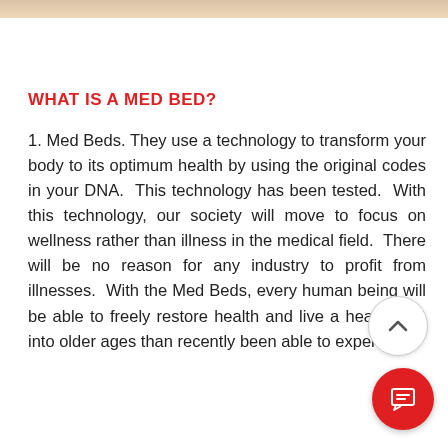WHAT IS A MED BED?
1. Med Beds. They use a technology to transform your body to its optimum health by using the original codes in your DNA.  This technology has been tested.  With this technology, our society will move to focus on wellness rather than illness in the medical field.  There will be no reason for any industry to profit from illnesses.  With the Med Beds, every human being will be able to freely restore health and live a healthy life into older ages than recently been able to experience.